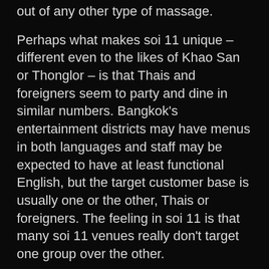out of any other type of massage.
Perhaps what makes soi 11 unique – different even to the likes of Khao San or Thonglor – is that Thais and foreigners seem to party and dine in similar numbers. Bangkok's entertainment districts may have menus in both languages and staff may be expected to have at least functional English, but the target customer base is usually one or the other, Thais or foreigners. The feeling in soi 11 is that many soi 11 venues really don't target one group over the other.
Soi 11 is not without its problems. The massage girls on the street outside and around Villa make Indian tailor's store touts seem polite and passive, while